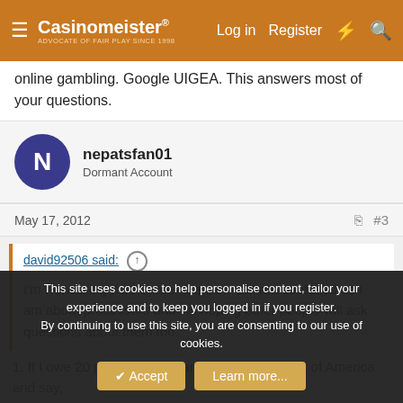Casinomeister® — Log in  Register
online gambling. Google UIGEA. This answers most of your questions.
nepatsfan01
Dormant Account
May 17, 2012  #3
david92506 said:
I'm wondering if other members on CM are confused as I am about processors and I'm hoping other people will ask questions about them too.
1. If I owe 20 people money and I go to The Bank of America and say,
This site uses cookies to help personalise content, tailor your experience and to keep you logged in if you register.
By continuing to use this site, you are consenting to our use of cookies.